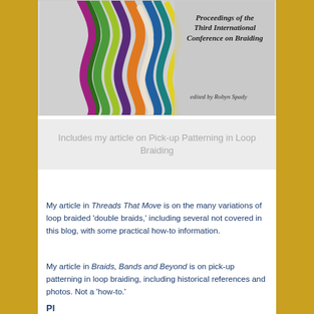[Figure (photo): Book cover for 'Proceedings of the Third International Conference on Braiding', edited by Robyn Spady. Shows colorful braided threads/cords in green, purple, orange, blue, yellow, white on a grey background. Text overlaid reads: 'Proceedings of the Third International Conference on Braiding' and 'edited by Robyn Spady'.]
Includes my article on Pick-up Patterning in Loop Braiding
My article in Threads That Move is on the many variations of loop braided 'double braids,' including several not covered in this blog, with some practical how-to information.
My article in Braids, Bands and Beyond is on pick-up patterning in loop braiding, including historical references and photos. Not a 'how-to.'
Place text or something else